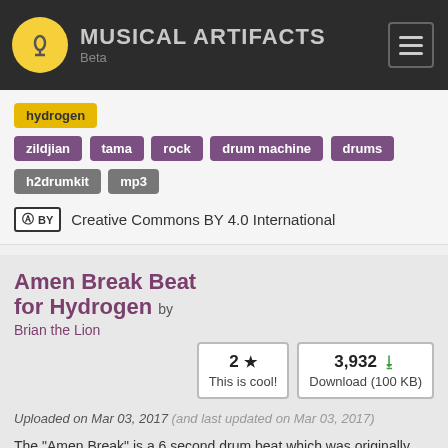MUSICAL ARTIFACTS Beta
hydrogen
zildjian tama rock drum machine drums h2drumkit mp3
Creative Commons BY 4.0 International
Amen Break Beat for Hydrogen by Brian the Lion
2 This is cool!
3,932 Download (100 KB)
Uploaded on Mar 03, 2017 (and last updated on Mar 03, 2017)
The "Amen Break" is a 6 second drum beat which was originally played by Gregory Sylvester Coleman in the song "Amen Brother" by "The Winstons" in 1969. It is considered the most sampled drum beat in the world.